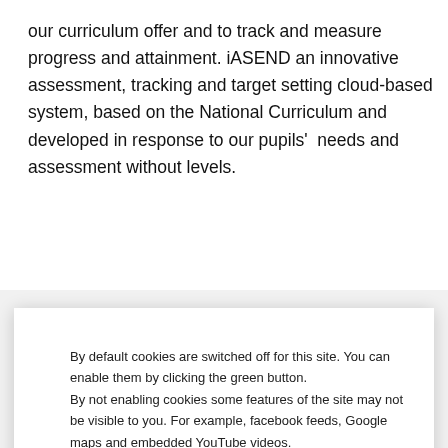our curriculum offer and to track and measure progress and attainment. iASEND an innovative assessment, tracking and target setting cloud-based system, based on the National Curriculum and developed in response to our pupils' needs and assessment without levels.
All pupils have individual targets in the core areas of the
By default cookies are switched off for this site. You can enable them by clicking the green button.
By not enabling cookies some features of the site may not be visible to you. For example, facebook feeds, Google maps and embedded YouTube videos.
Link to our Cookies Page
Disable cookies
ENABLE
Please click on the links below to see pupil information for the